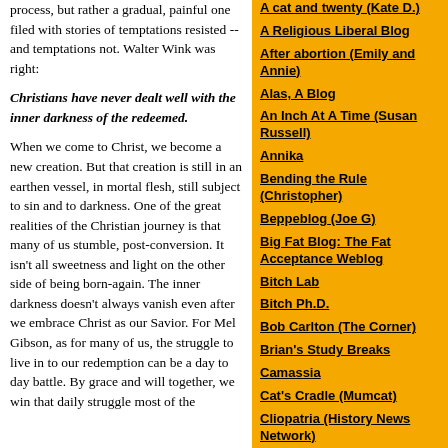process, but rather a gradual, painful one filed with stories of temptations resisted -- and temptations not. Walter Wink was right:
Christians have never dealt well with the inner darkness of the redeemed.
When we come to Christ, we become a new creation.  But that creation is still in an earthen vessel, in mortal flesh, still subject to sin and to darkness.   One of the great realities of the Christian journey is that many of us stumble, post-conversion.  It isn't all sweetness and light on the other side of being born-again.  The inner darkness doesn't always vanish even after we embrace Christ as our Savior.  For Mel Gibson, as for many of us, the struggle to live in to our redemption can be a day to day battle.  By grace and will together, we win that daily struggle most of the
A cat and twenty (Kate D.)
A Religious Liberal Blog
After abortion (Emily and Annie)
Alas, A Blog
An Inch At A Time (Susan Russell)
Annika
Bending the Rule (Christopher)
Beppeblog (Joe G)
Big Fat Blog: The Fat Acceptance Weblog
Bitch Lab
Bitch Ph.D.
Bob Carlton (The Corner)
Brian's Study Breaks
Camassia
Cat's Cradle (Mumcat)
Cliopatria (History News Network)
Connie Chung
Creek Running North (Chris Clarke)